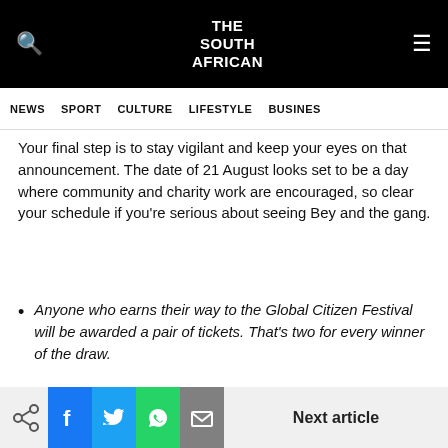THE SOUTH AFRICAN
NEWS   SPORT   CULTURE   LIFESTYLE   BUSINESS
Your final step is to stay vigilant and keep your eyes on that announcement. The date of 21 August looks set to be a day where community and charity work are encouraged, so clear your schedule if you're serious about seeing Bey and the gang.
Anyone who earns their way to the Global Citizen Festival will be awarded a pair of tickets. That's two for every winner of the draw.
Next article